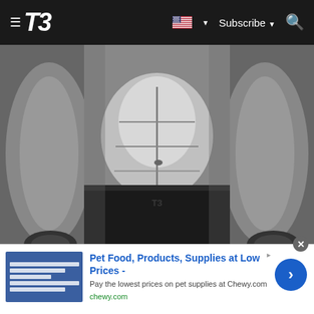T3 — Subscribe
[Figure (photo): Black and white close-up photo of a muscular person's torso and arms holding dumbbells, showing defined abdominal muscles]
One dumbbell, 7 minutes and a core workout to give you rock solid abs
[Figure (other): Advertisement banner: Pet Food, Products, Supplies at Low Prices - Pay the lowest prices on pet supplies at Chewy.com — chewy.com]